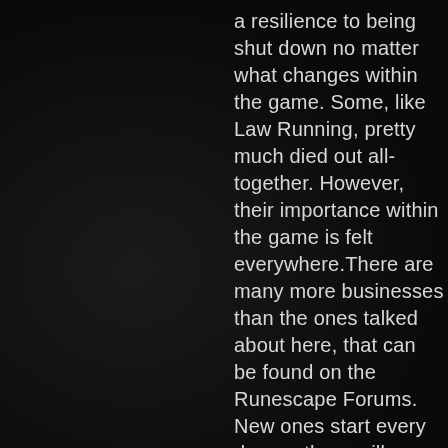a resilience to being shut down no matter what changes within the game. Some, like Law Running, pretty much died out all-together. However, their importance within the game is felt everywhere.There are many more businesses than the ones talked about here, that can be found on the Runescape Forums. New ones start every day, so there will always